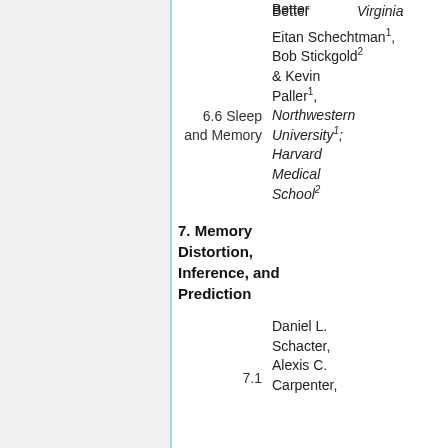Better
Virginia
Eitan Schechtman1, Bob Stickgold2 & Kevin Paller1, Northwestern University1; Harvard Medical School2
6.6 Sleep and Memory
7. Memory Distortion, Inference, and Prediction
7.1
Daniel L. Schacter, Alexis C. Carpenter,